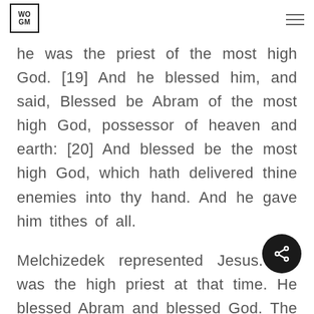WOGM [hamburger menu icon]
he was the priest of the most high God. [19] And he blessed him, and said, Blessed be Abram of the most high God, possessor of heaven and earth: [20] And blessed be the most high God, which hath delivered thine enemies into thy hand. And he gave him tithes of all.
Melchizedek represented Jesus. He was the high priest at that time. He blessed Abram and blessed God. The job of the high priest is two fold: 1)